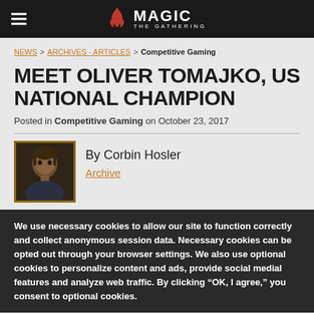MAGIC THE GATHERING
NEWS > ARCHIVES - ARTICLES > Competitive Gaming
MEET OLIVER TOMAJKO, US NATIONAL CHAMPION
Posted in Competitive Gaming on October 23, 2017
[Figure (photo): Headshot photo of Corbin Hosler, author]
By Corbin Hosler
Archive
We use necessary cookies to allow our site to function correctly and collect anonymous session data. Necessary cookies can be opted out through your browser settings. We also use optional cookies to personalize content and ads, provide social medial features and analyze web traffic. By clicking “OK, I agree,” you consent to optional cookies.